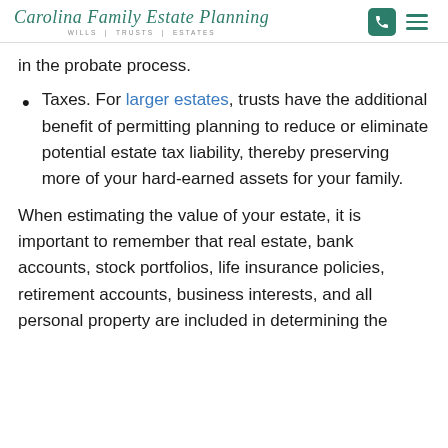Carolina Family Estate Planning — WILLS | TRUSTS | ESTATES
in the probate process.
Taxes. For larger estates, trusts have the additional benefit of permitting planning to reduce or eliminate potential estate tax liability, thereby preserving more of your hard-earned assets for your family.
When estimating the value of your estate, it is important to remember that real estate, bank accounts, stock portfolios, life insurance policies, retirement accounts, business interests, and all personal property are included in determining the